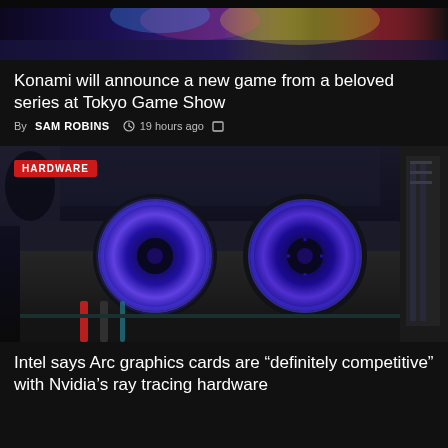[Figure (photo): Top portion of a colorful gaming/event scene with stage lighting, partially visible]
Konami will announce a new game from a beloved series at Tokyo Game Show
By SAM ROBINS  19 hours ago
[Figure (photo): A graphics card (GPU) with two blue LED fans lit up, labeled HARDWARE, on a computer motherboard]
Intel says Arc graphics cards are "definitely competitive" with Nvidia's ray tracing hardware